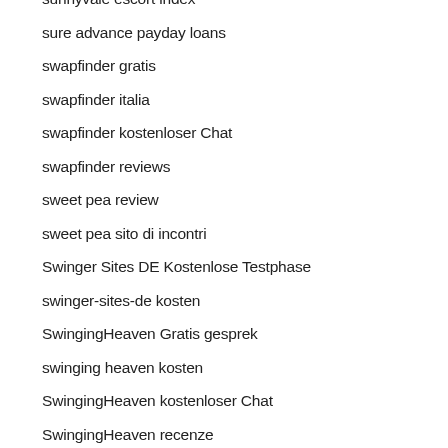sunnyvale escort index
sure advance payday loans
swapfinder gratis
swapfinder italia
swapfinder kostenloser Chat
swapfinder reviews
sweet pea review
sweet pea sito di incontri
Swinger Sites DE Kostenlose Testphase
swinger-sites-de kosten
SwingingHeaven Gratis gesprek
swinging heaven kosten
SwingingHeaven kostenloser Chat
SwingingHeaven recenze
swinglifestyle Gratis gesprek
SwingLifestyle italia
SwingLifestyle reviews
swingstown review
swingstown visita